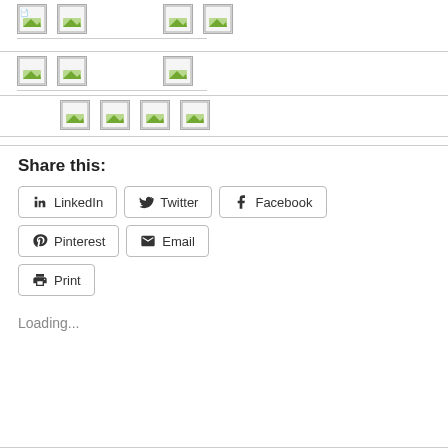[Figure (other): Row of image placeholder icons (4 icons)]
[Figure (other): Row of image placeholder icons (3 icons)]
[Figure (other): Row of image placeholder icons (4 icons)]
Share this:
LinkedIn  Twitter  Facebook  Pinterest  Email  Print
Loading...